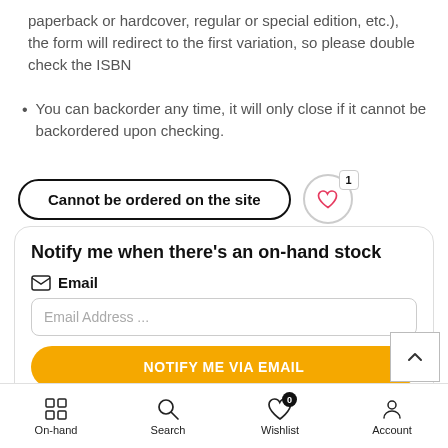paperback or hardcover, regular or special edition, etc.), the form will redirect to the first variation, so please double check the ISBN
You can backorder any time, it will only close if it cannot be backordered upon checking.
[Figure (screenshot): Cannot be ordered on the site button with wishlist heart icon showing count 1]
[Figure (screenshot): Notify me when there's an on-hand stock form with email input and NOTIFY ME VIA EMAIL button]
[Figure (screenshot): Bottom navigation bar with On-hand, Search, Wishlist (badge 0), Account icons]